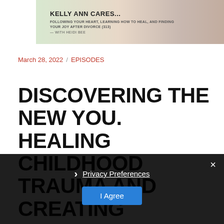[Figure (illustration): Podcast cover image for 'Kelly Ann Cares...' with subtitle 'Following Your Heart, Learning How to Heal, and Finding Your Joy After Divorce (313) With Heidi Bee', pastel colored background with pink, green and terracotta tones.]
March 28, 2022 / EPISODES
DISCOVERING THE NEW YOU. HEALING CHILDHOOD TRAUMA AND CREATING LIFELONG TRANSFORMATIONS WITH FALLON FITZPATRICK (112)
Privacy Preferences
I Agree